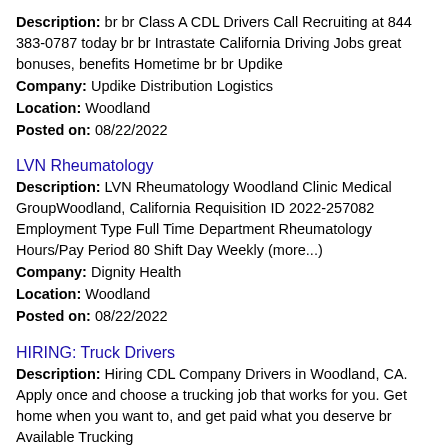Description: br br Class A CDL Drivers Call Recruiting at 844 383-0787 today br br Intrastate California Driving Jobs great bonuses, benefits Hometime br br Updike
Company: Updike Distribution Logistics
Location: Woodland
Posted on: 08/22/2022
LVN Rheumatology
Description: LVN Rheumatology Woodland Clinic Medical GroupWoodland, California Requisition ID 2022-257082 Employment Type Full Time Department Rheumatology Hours/Pay Period 80 Shift Day Weekly (more...)
Company: Dignity Health
Location: Woodland
Posted on: 08/22/2022
HIRING: Truck Drivers
Description: Hiring CDL Company Drivers in Woodland, CA. Apply once and choose a trucking job that works for you. Get home when you want to, and get paid what you deserve br Available Trucking
Company: Live Trucking
Location: Woodland
Posted on: 08/22/2022